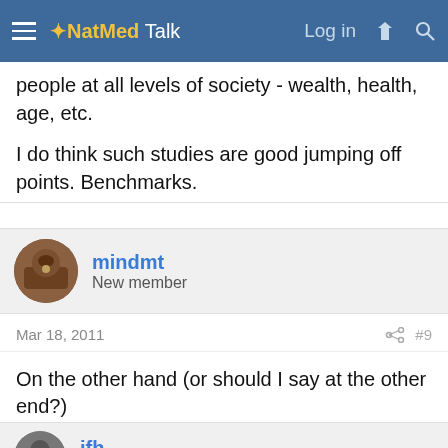NatMed Talk — Log in
people at all levels of society - wealth, health, age, etc.
I do think such studies are good jumping off points. Benchmarks.
mindmt
New member
Mar 18, 2011   #9
On the other hand (or should I say at the other end?)
http://www.ncbi.nlm.nih.gov/pubmed/20663065
jfh
perpetual student